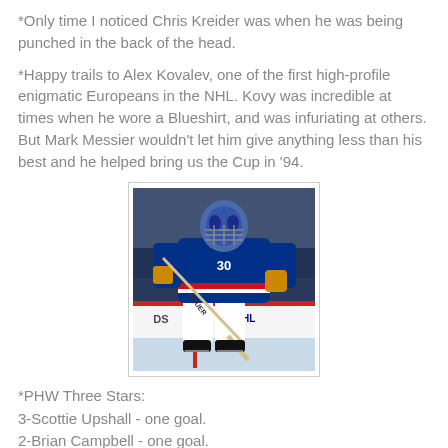*Only time I noticed Chris Kreider was when he was being punched in the back of the head.
*Happy trails to Alex Kovalev, one of the first high-profile enigmatic Europeans in the NHL. Kovy was incredible at times when he wore a Blueshirt, and was infuriating at others. But Mark Messier wouldn't let him give anything less than his best and he helped bring us the Cup in '94.
[Figure (photo): Hockey goalie in blue New York Rangers jersey holding a Bauer hockey stick on the ice, wearing a decorated mask, with NHL advertising boards visible in the background.]
*PHW Three Stars:
3-Scottie Upshall - one goal.
2-Brian Campbell - one goal.